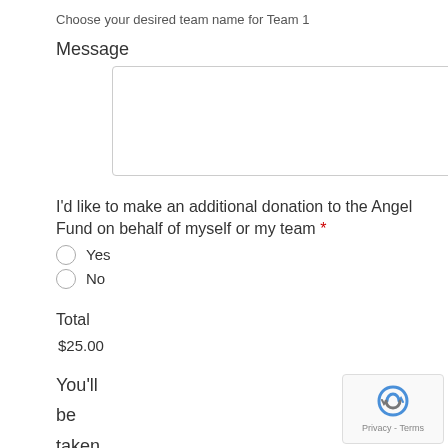Choose your desired team name for Team 1
Message
I'd like to make an additional donation to the Angel Fund on behalf of myself or my team *
Yes
No
Total
$25.00
You'll
be
taken
to